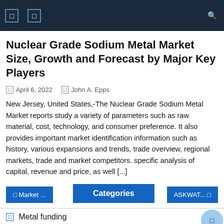Navigation bar with icons
Nuclear Grade Sodium Metal Market Size, Growth and Forecast by Major Key Players
April 6, 2022   John A. Epps
New Jersey, United States,-The Nuclear Grade Sodium Metal Market reports study a variety of parameters such as raw material, cost, technology, and consumer preference. It also provides important market identification information such as history, various expansions and trends, trade overview, regional markets, trade and market competitors. specific analysis of capital, revenue and price, as well [...]
Categories
Metal funding